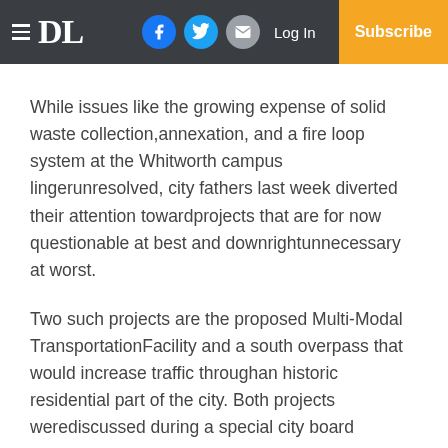DL | Log In | Subscribe
While issues like the growing expense of solid waste collection,annexation, and a fire loop system at the Whitworth campus lingerunresolved, city fathers last week diverted their attention towardprojects that are for now questionable at best and downrightunnecessary at worst.
Two such projects are the proposed Multi-Modal TransportationFacility and a south overpass that would increase traffic throughan historic residential part of the city. Both projects werediscussed during a special city board meeting Tuesday.